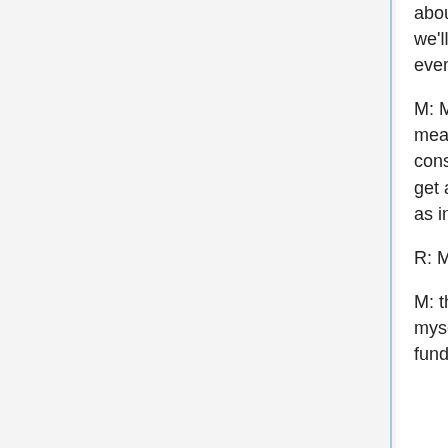about is defining artificial intelligence as this magical thing that maybe we'll never reach simply because each time we're going to learn everything behind it.
M: Might. And I mean these are not small questions. What does it mean that we're thinking? What is that level of consciousness that we consider our own intelligences? Do other animals have that level? If I get a machine to the level of a cat, have I proven that the machine is as intelligent as a cat or that the cat is not intelligent?
R: Maybe both.
M: there's the line there, really. Especially as a strict materialist like myself, I have trouble wrapping my head around the idea that there's fundamentally anything different about